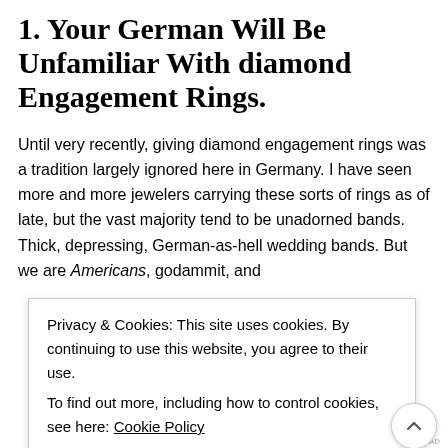1. Your German Will Be Unfamiliar With diamond Engagement Rings.
Until very recently, giving diamond engagement rings was a tradition largely ignored here in Germany. I have seen more and more jewelers carrying these sorts of rings as of late, but the vast majority tend to be unadorned bands. Thick, depressing, German-as-hell wedding bands. But we are Americans, godammit, and
Privacy & Cookies: This site uses cookies. By continuing to use this website, you agree to their use.
To find out more, including how to control cookies, see here: Cookie Policy
CLOSE AND ACCEPT